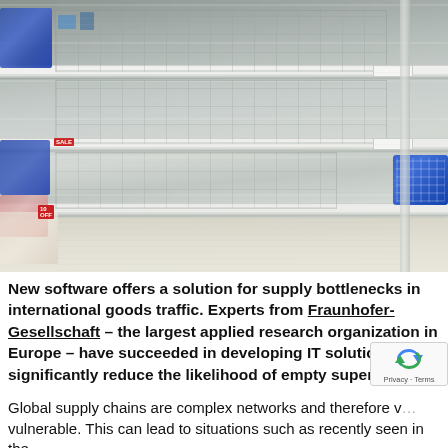[Figure (photo): Photograph of empty supermarket shelves — metal wire grid shelving units with almost no products, showing bare grey wire racks. A few blue packages on the far left, a blue storage crate on the right, and small items at the bottom left. Price tags visible. Beige floor at bottom.]
New software offers a solution for supply bottlenecks in international goods traffic. Experts from Fraunhofer-Gesellschaft – the largest applied research organization in Europe – have succeeded in developing IT solutions that significantly reduce the likelihood of empty supermarket
Global supply chains are complex networks and therefore vulnerable. This can lead to situations such as recently seen in the